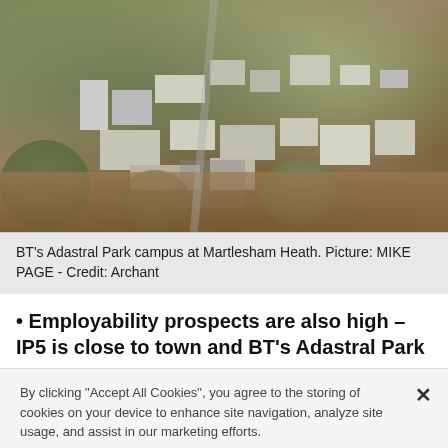[Figure (photo): Aerial photograph of BT's Adastral Park campus at Martlesham Heath, showing buildings, roads, green trees and surrounding countryside from above.]
BT's Adastral Park campus at Martlesham Heath. Picture: MIKE PAGE - Credit: Archant
• Employability prospects are also high – IP5 is close to town and BT's Adastral Park
By clicking "Accept All Cookies", you agree to the storing of cookies on your device to enhance site navigation, analyze site usage, and assist in our marketing efforts.
Cookies Settings   Accept All Cookies